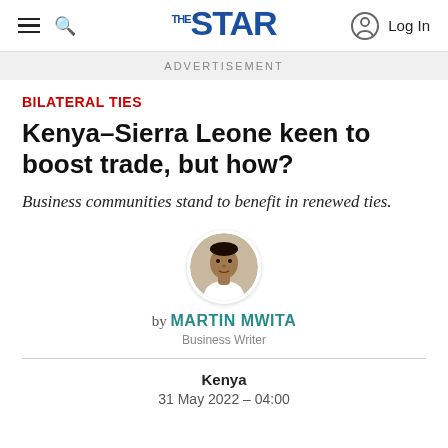THE STAR — Log In
ADVERTISEMENT
BILATERAL TIES
Kenya–Sierra Leone keen to boost trade, but how?
Business communities stand to benefit in renewed ties.
[Figure (photo): Circular headshot portrait of Martin Mwita, Business Writer]
by MARTIN MWITA
Business Writer
Kenya
31 May 2022 – 04:00